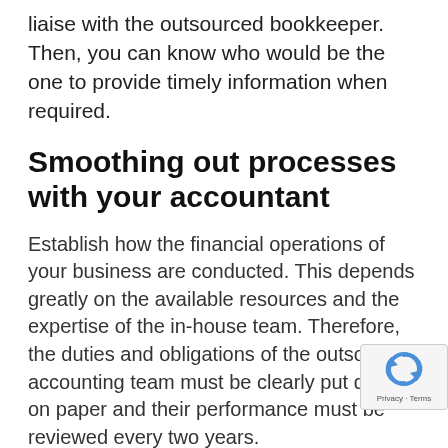liaise with the outsourced bookkeeper. Then, you can know who would be the one to provide timely information when required.
Smoothing out processes with your accountant
Establish how the financial operations of your business are conducted. This depends greatly on the available resources and the expertise of the in-house team. Therefore, the duties and obligations of the outsourced accounting team must be clearly put down on paper and their performance must be reviewed every two years.
Other non-technical aspects that must be defined are communication and